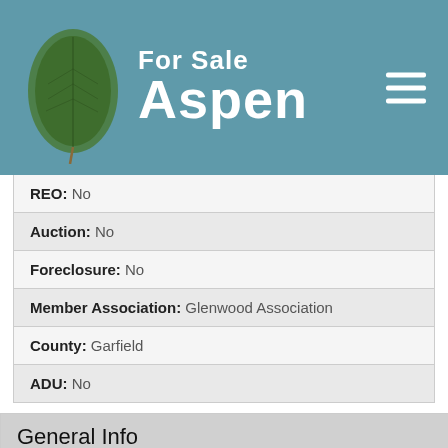[Figure (logo): For Sale Aspen website header with aspen leaf logo, site name 'For Sale Aspen', and hamburger menu icon on teal/blue background]
| REO: | No |
| Auction: | No |
| Foreclosure: | No |
| Member Association: | Glenwood Association |
| County: | Garfield |
| ADU: | No |
General Info
| Sub/Loc: | First Eagles Point |
| Legal: | Section: 17 Township: 7 Range: 95 Subdivision: FIRST |